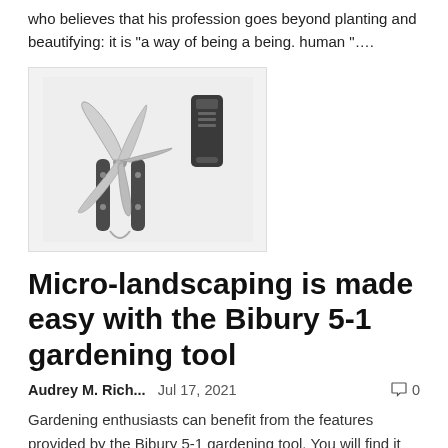who believes that his profession goes beyond planting and beautifying: it is "a way of being a being. human "....
[Figure (photo): A multi-tool/pocket knife with multiple blades open, and a black leather sheath/case next to it, on a light grey background.]
Micro-landscaping is made easy with the Bibury 5-1 gardening tool
Audrey M. Rich...   Jul 17, 2021   0
Gardening enthusiasts can benefit from the features provided by the Bibury 5-1 gardening tool. You will find it very useful, especially if you are in the yard and do not know what you are facing. This